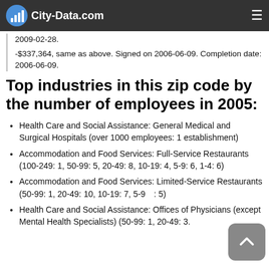City-Data.com
$337,364 with Navy for Engineering and Technical Services. Signed on 2006-02-13. Completion date: 2009-02-28.
-$337,364, same as above. Signed on 2006-06-09. Completion date: 2006-06-09.
Top industries in this zip code by the number of employees in 2005:
Health Care and Social Assistance: General Medical and Surgical Hospitals (over 1000 employees: 1 establishment)
Accommodation and Food Services: Full-Service Restaurants (100-249: 1, 50-99: 5, 20-49: 8, 10-19: 4, 5-9: 6, 1-4: 6)
Accommodation and Food Services: Limited-Service Restaurants (50-99: 1, 20-49: 10, 10-19: 7, 5-9: [obscured]: 5)
Health Care and Social Assistance: Offices of Physicians (except Mental Health Specialists) (50-99: 1, 20-49: 3.